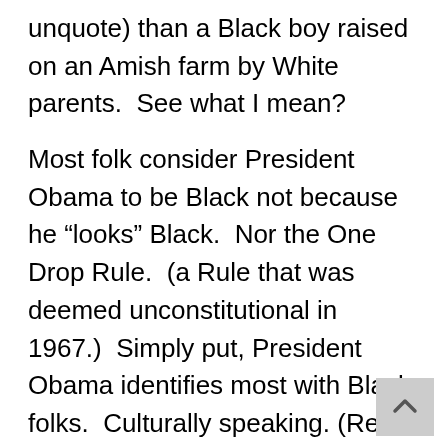unquote) than a Black boy raised on an Amish farm by White parents.  See what I mean?
Most folk consider President Obama to be Black not because he “looks” Black.  Nor the One Drop Rule.  (a Rule that was deemed unconstitutional in 1967.)  Simply put, President Obama identifies most with Black folks.  Culturally speaking. (Read his autobiography, “Dreams From my Father.”)  He immersed himself in Black culture &